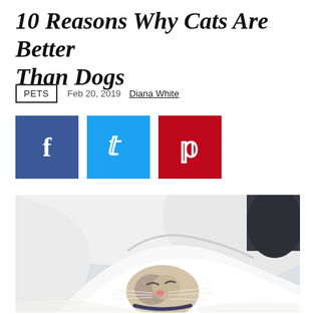10 Reasons Why Cats Are Better Than Dogs
PETS  Feb 20, 2019  Diana White
[Figure (other): Social media share buttons: Facebook (dark blue), Twitter (light blue), Pinterest (red)]
[Figure (photo): A cat peeking out from under white bedding/sheets, eyes closed, whiskers visible]